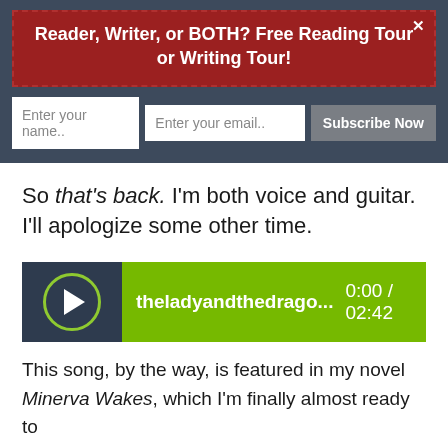Reader, Writer, or BOTH? Free Reading Tour or Writing Tour!
[Figure (screenshot): Email subscription form with name field, email field, and Subscribe Now button on dark blue background]
So that's back. I'm both voice and guitar. I'll apologize some other time.
[Figure (screenshot): Audio player widget showing theladyandthedrago... 0:00 / 02:42 on green background with play button]
This song, by the way, is featured in my novel Minerva Wakes, which I'm finally almost ready to
[Figure (other): Support me button with Ko-fi cup icon on orange background]